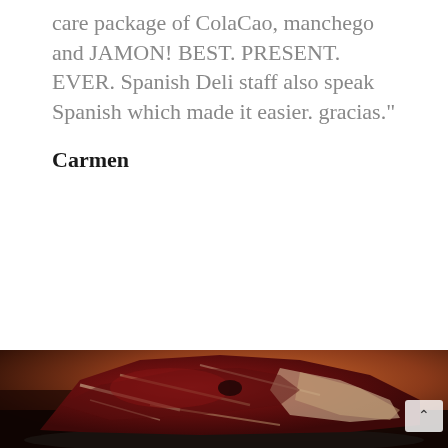care package of ColaCao, manchego and JAMON! BEST. PRESENT. EVER. Spanish Deli staff also speak Spanish which made it easier. gracias."
Carmen
[Figure (photo): A piece of jamon (cured Spanish ham) displayed on a dark slate board against a warm brown/orange background]